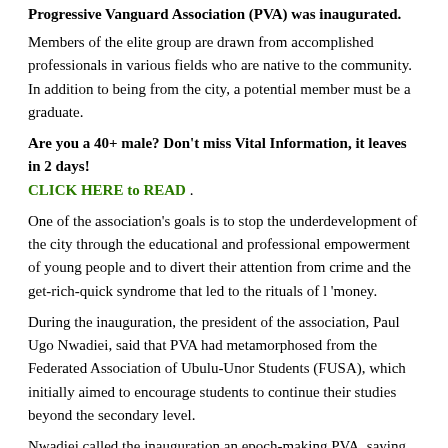Progressive Vanguard Association (PVA) was inaugurated.
Members of the elite group are drawn from accomplished professionals in various fields who are native to the community. In addition to being from the city, a potential member must be a graduate.
Are you a 40+ male? Don't miss Vital Information, it leaves in 2 days! CLICK HERE to READ .
One of the association's goals is to stop the underdevelopment of the city through the educational and professional empowerment of young people and to divert their attention from crime and the get-rich-quick syndrome that led to the rituals of l 'money.
During the inauguration, the president of the association, Paul Ugo Nwadiei, said that PVA had metamorphosed from the Federated Association of Ubulu-Unor Students (FUSA), which initially aimed to encourage students to continue their studies beyond the secondary level.
Nwadiei called the inauguration an epoch-making PVA, saying the association came to imprint its footprints in the sands of Ubulu-Unor by facilitating its development.